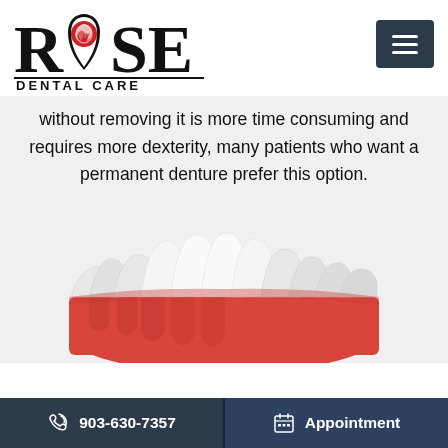[Figure (logo): Rose Dental Care logo with stylized rose inside tooth shape, black serif text ROSE above, DENTAL CARE in caps below with underline]
without removing it is more time consuming and requires more dexterity, many patients who want a permanent denture prefer this option.
[Figure (illustration): 3D rendering of a dental denture/set of lower teeth with white teeth and red gum tissue, perspective view]
903-630-7357   Appointment